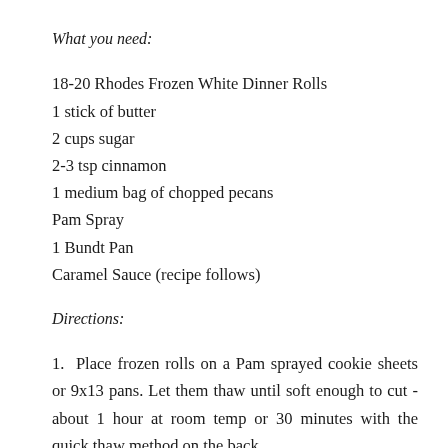What you need:
18-20 Rhodes Frozen White Dinner Rolls
1 stick of butter
2 cups sugar
2-3 tsp cinnamon
1 medium bag of chopped pecans
Pam Spray
1 Bundt Pan
Caramel Sauce (recipe follows)
Directions:
1.  Place frozen rolls on a Pam sprayed cookie sheets or 9x13 pans. Let them thaw until soft enough to cut - about 1 hour at room temp or 30 minutes with the quick thaw method on the back